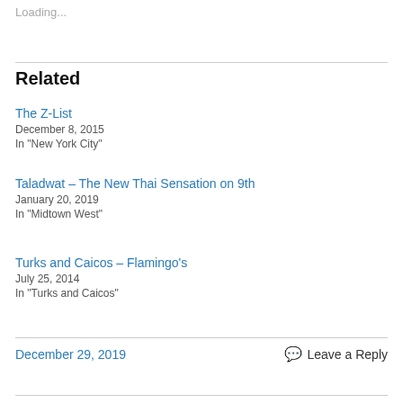Loading...
Related
The Z-List
December 8, 2015
In "New York City"
Taladwat – The New Thai Sensation on 9th
January 20, 2019
In "Midtown West"
Turks and Caicos – Flamingo's
July 25, 2014
In "Turks and Caicos"
December 29, 2019    Leave a Reply